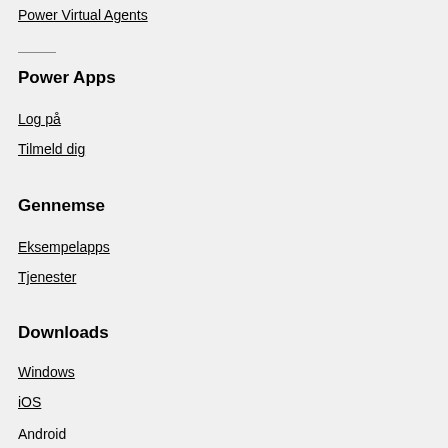Power Virtual Agents
Power Apps
Log på
Tilmeld dig
Gennemse
Eksempelapps
Tjenester
Downloads
Windows
iOS
Android